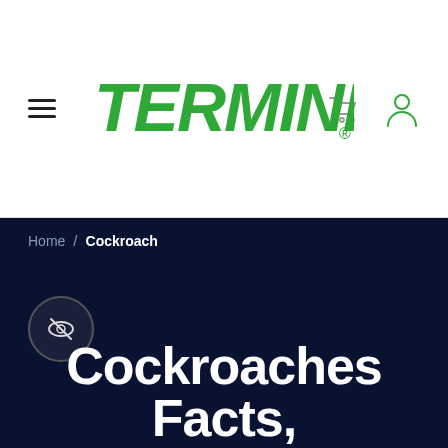Terminix navigation bar with hamburger menu, Terminix logo, cart icon, and user icon
Home / Cockroach
[Figure (logo): Circular icon with crossed-out eye symbol on dark navy background]
Cockroaches Facts,